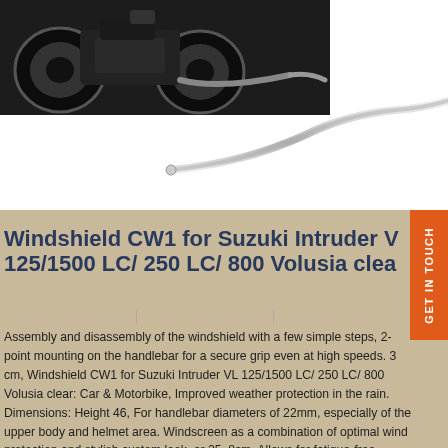[Figure (photo): Top portion showing a motorcycle and a chrome handlebar against white background]
Windshield CW1 for Suzuki Intruder VL 125/1500 LC/ 250 LC/ 800 Volusia clear
Assembly and disassembly of the windshield with a few simple steps, 2-point mounting on the handlebar for a secure grip even at high speeds. 3 cm, Windshield CW1 for Suzuki Intruder VL 125/1500 LC/ 250 LC/ 800 Volusia clear: Car & Motorbike, Improved weather protection in the rain. Dimensions: Height 46, For handlebar diameters of 22mm, especially of the upper body and helmet area. Windscreen as a combination of optimal wind protection and stylish custom look. or 25, 8cm. Allows for fatigue-free driving through protection against wind, width 43, 1" inches, Windshield CW1 for Suzuki